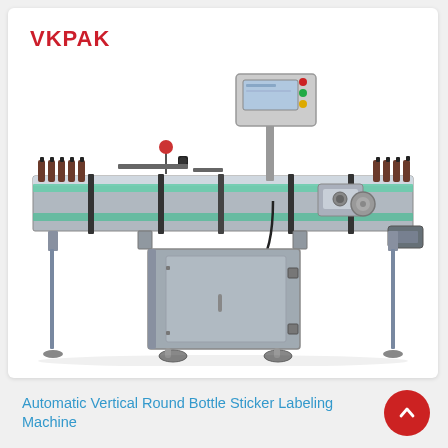[Figure (photo): Industrial automatic vertical round bottle sticker labeling machine with stainless steel frame, conveyor belt with green guide rails, control panel on top, and small bottles being processed. VKPAK logo in red at top left of image.]
Automatic Vertical Round Bottle Sticker Labeling Machine